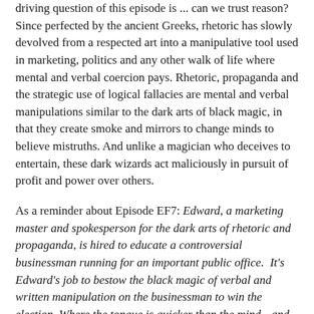driving question of this episode is ... can we trust reason? Since perfected by the ancient Greeks, rhetoric has slowly devolved from a respected art into a manipulative tool used in marketing, politics and any other walk of life where mental and verbal coercion pays. Rhetoric, propaganda and the strategic use of logical fallacies are mental and verbal manipulations similar to the dark arts of black magic, in that they create smoke and mirrors to change minds to believe mistruths. And unlike a magician who deceives to entertain, these dark wizards act maliciously in pursuit of profit and power over others.
As a reminder about Episode EF7: Edward, a marketing master and spokesperson for the dark arts of rhetoric and propaganda, is hired to educate a controversial businessman running for an important public office.  It's Edward's job to bestow the black magic of verbal and written manipulation on the businessman to win the election. Where the tongue is quicker than the mind—and the pen sharp enough to cut—are these skills a well-respected art? Or are